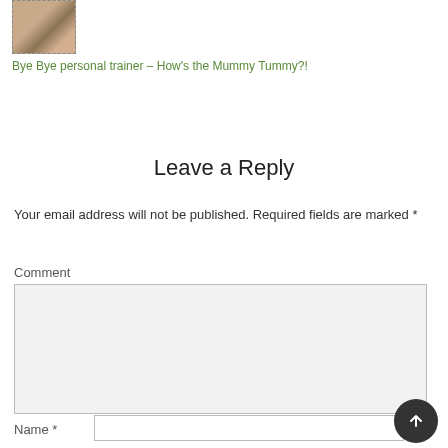[Figure (photo): Small thumbnail image showing a person, cropped view]
Bye Bye personal trainer – How's the Mummy Tummy?!
Leave a Reply
Your email address will not be published. Required fields are marked *
Comment
Name *